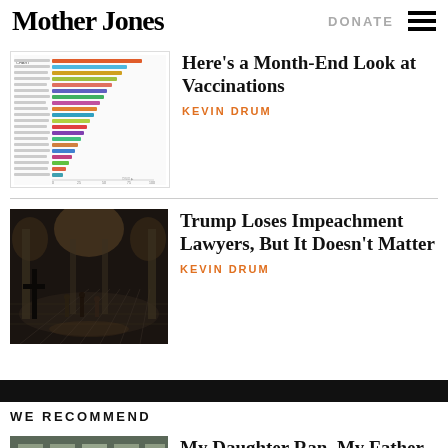Mother Jones  DONATE
[Figure (screenshot): Thumbnail of a horizontal bar chart showing COVID vaccination rates by country]
Here's a Month-End Look at Vaccinations
KEVIN DRUM
[Figure (photo): Photo of the US Capitol interior rotunda, dark scene with figures and a cross silhouette]
Trump Loses Impeachment Lawyers, But It Doesn't Matter
KEVIN DRUM
WE RECOMMEND
[Figure (photo): Photo of a crime scene with yellow tape and flowers on a street]
My Daughter Ran. My Father Was Shot. I'll Never